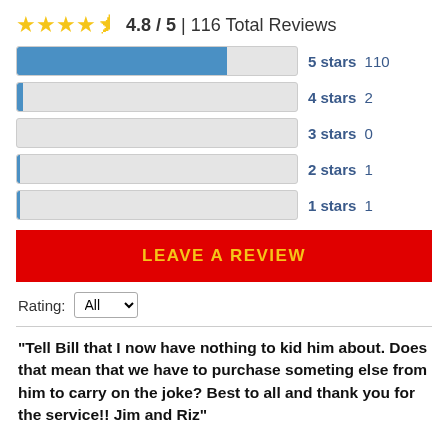4.8 / 5 | 116 Total Reviews
[Figure (bar-chart): Star rating distribution]
LEAVE A REVIEW
Rating: All
"Tell Bill that I now have nothing to kid him about. Does that mean that we have to purchase someting else from him to carry on the joke? Best to all and thank you for the service!! Jim and Riz"